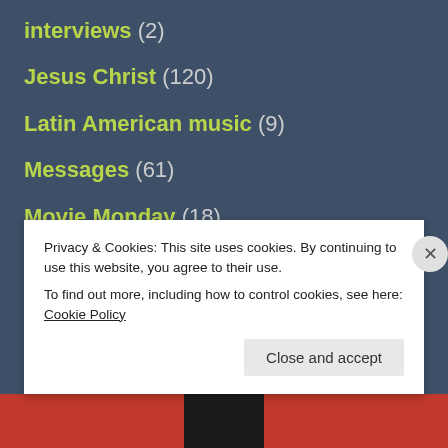interviews (2)
Jesus Christ (120)
Latin American music (9)
Messages (61)
Movie Monday (18)
movies (40)
music (75)
Mysteries (1)
Nature (16)
News (11)
Privacy & Cookies: This site uses cookies. By continuing to use this website, you agree to their use.
To find out more, including how to control cookies, see here: Cookie Policy
Close and accept